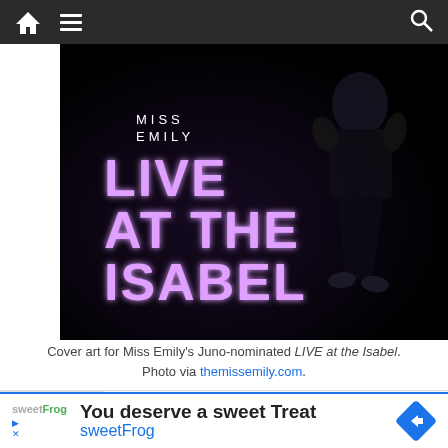Navigation bar with home, menu, and search icons
[Figure (photo): Cover art for Miss Emily's Juno-nominated LIVE at the Isabel album. Dark background with glowing pink/purple text reading MISS EMILY LIVE AT THE ISABEL, with a silhouette of a performer on the right side.]
Cover art for Miss Emily's Juno-nominated LIVE at the Isabel. Photo via themissemily.com.
...the pandemic lockdowns. Fennell said 2021
[Figure (other): Advertisement for sweetFrog: You deserve a sweet Treat. sweetFrog logo with navigation arrow icon.]